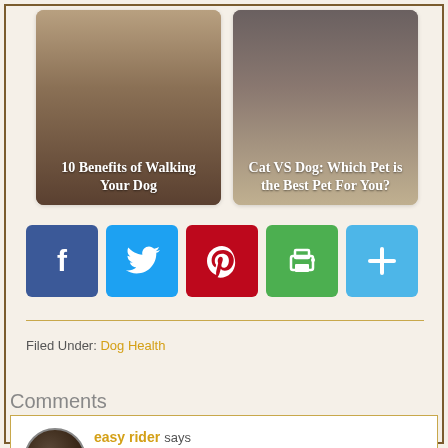[Figure (photo): Thumbnail card: person walking dog on beach with text overlay '10 Benefits of Walking Your Dog']
[Figure (photo): Thumbnail card: cats and dogs with text overlay 'Cat VS Dog: Which Pet is the Best Pet For You?']
[Figure (infographic): Social share buttons: Facebook (blue), Twitter (light blue), Pinterest (red), Print (green), Share/Plus (light blue)]
Filed Under: Dog Health
Comments
easy rider says
April 24, 2015 at 7:30 AM